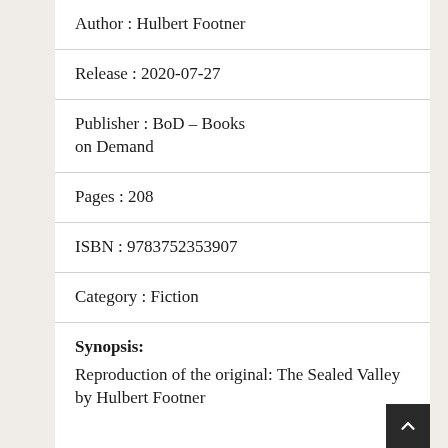Author : Hulbert Footner
Release : 2020-07-27
Publisher : BoD – Books on Demand
Pages : 208
ISBN : 9783752353907
Category : Fiction
Synopsis:
Reproduction of the original: The Sealed Valley by Hulbert Footner